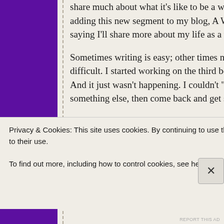share much about what it's like to be a writer. At least my life as adding this new segment to my blog, A Writer's Life. I'm not sayi saying I'll share more about my life as a writer. So without furthe
Sometimes writing is easy; other times not so easy; and then the difficult. I started working on the third book in my Puzzle House And it just wasn't happening. I couldn't "see" the story. I'd write s something else, then come back and get stuck again. This happe
Since I started writing this third book, I actually finished three o got contracts. Yea! I did final revisions on two other books, and s finished a project, I'd go back to the Puzzle House book–current CHILDREN. Believe me, I was suffering with this book. Anyway, I then...I'd get stuck once again.
I began to doubt that it would ever get finished, but it was more
Privacy & Cookies: This site uses cookies. By continuing to use this website, you agree to their use.
To find out more, including how to control cookies, see here: Cookie Policy
Close and accept
REPORT THIS AD